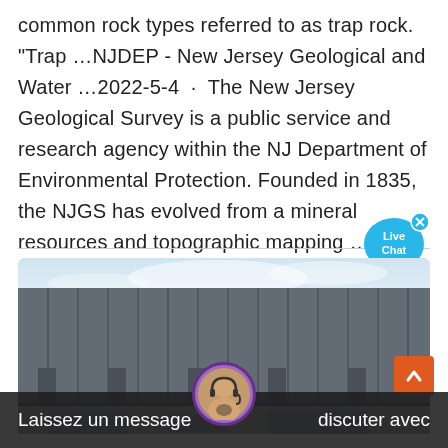common rock types referred to as trap rock. "Trap …NJDEP - New Jersey Geological and Water …2022-5-4 · The New Jersey Geological Survey is a public service and research agency within the NJ Department of Environmental Protection. Founded in 1835, the NJGS has evolved from a mineral resources and topographic mapping …
[Figure (other): Live Chat speech bubble widget in blue with white text 'Live Chat' and an X close button]
[Figure (photo): Photograph of an industrial building exterior with dark metal paneling and pillars, taken from a low angle showing sky in background]
Laissez un message    discuter avec